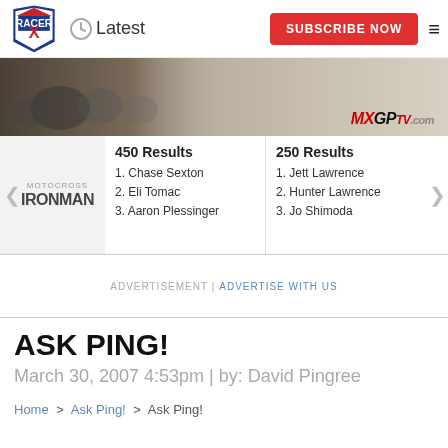Latest | SUBSCRIBE NOW
[Figure (photo): Motocross riders racing, with MXGP-TV.com banner advertisement]
MOTOCROSS IRONMAN | 450 Results: 1. Chase Sexton, 2. Eli Tomac, 3. Aaron Plessinger | 250 Results: 1. Jett Lawrence, 2. Hunter Lawrence, 3. Jo Shimoda
ADVERTISEMENT | ADVERTISE WITH US
ASK PING!
March 30, 2007 4:53pm | by: David Pingree
Home > Ask Ping! > Ask Ping!